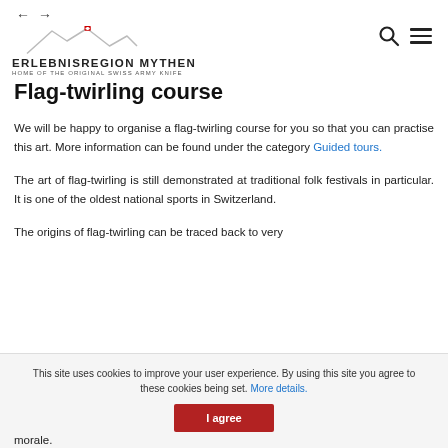ERLEBNISREGION MYTHEN — HOME OF THE ORIGINAL SWISS ARMY KNIFE
Flag-twirling course
We will be happy to organise a flag-twirling course for you so that you can practise this art. More information can be found under the category Guided tours.
The art of flag-twirling is still demonstrated at traditional folk festivals in particular. It is one of the oldest national sports in Switzerland.
The origins of flag-twirling can be traced back to very
This site uses cookies to improve your user experience. By using this site you agree to these cookies being set. More details.
morale.